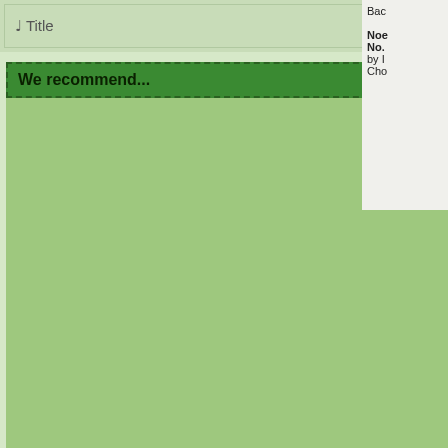♩ Title
We recommend...
Bac...
Noe... No. ... by ... Ch...
Gaiety
Franz Schubert
Opus: -
Voice and Piano
D 262
Lied
Available Downloads:
Score for Voice and Piano
Galop Infernal
Raphael Fassett
Opus: -
Piano
Ragtime
Available Downloads:
Score for Piano
Ganymede
Franz Schubert
Opus 19 Nr 3
Voice and Piano
D 544
Lied
Available Downloads:
Score for Voice and Piano